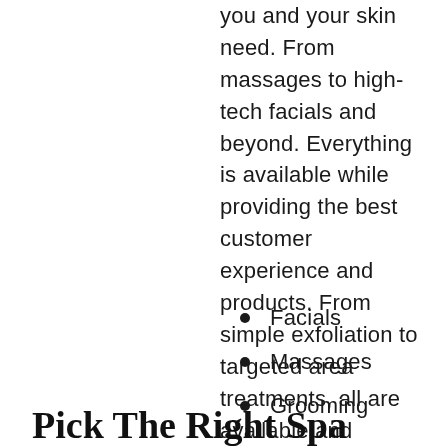you and your skin need. From massages to high-tech facials and beyond. Everything is available while providing the best customer experience and products. From simple exfoliation to targeted area treatments, all are available and helpful from a luxury spa in London.
Facials
Massages
Grooming
Pick The Right Spa